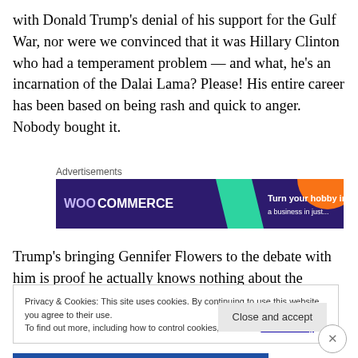with Donald Trump's denial of his support for the Gulf War, nor were we convinced that it was Hillary Clinton who had a temperament problem — and what, he's an incarnation of the Dalai Lama?  Please!  His entire career has been based on being rash and quick to anger. Nobody bought it.
Advertisements
[Figure (other): WooCommerce advertisement banner with purple background, teal triangle, orange circle, and text 'Turn your hobby into']
Trump's bringing Gennifer Flowers to the debate with him is proof he actually knows nothing about the thinking of
Privacy & Cookies: This site uses cookies. By continuing to use this website, you agree to their use.
To find out more, including how to control cookies, see here: Cookie Policy
Close and accept